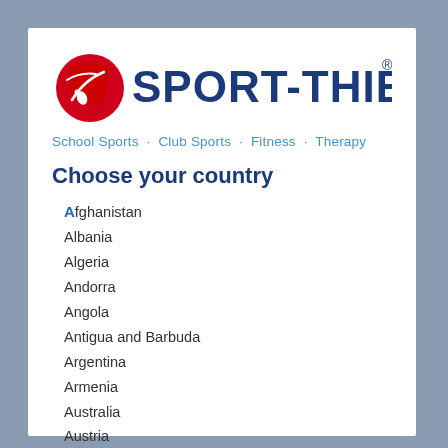[Figure (logo): Sport-Thieme logo with red ball and blue text, tagline: School Sports · Club Sports · Fitness · Therapy]
Choose your country
Afghanistan
Albania
Algeria
Andorra
Angola
Antigua and Barbuda
Argentina
Armenia
Australia
Austria
Azerbaijan